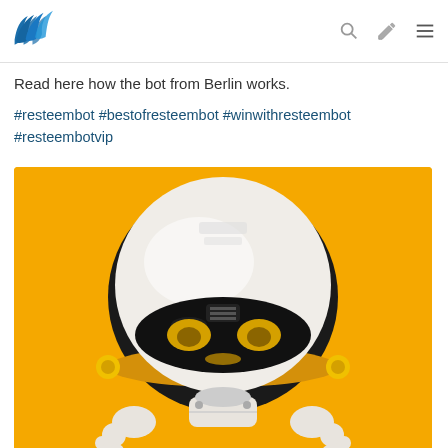Steem logo and navigation icons
Read here how the bot from Berlin works.
#resteembot #bestofresteembot #winwithresteembot #resteembotvip
[Figure (photo): 3D rendered cute robot with round white helmet-head and glowing yellow eyes on a bright yellow/orange background, with robotic body arms visible at the bottom.]